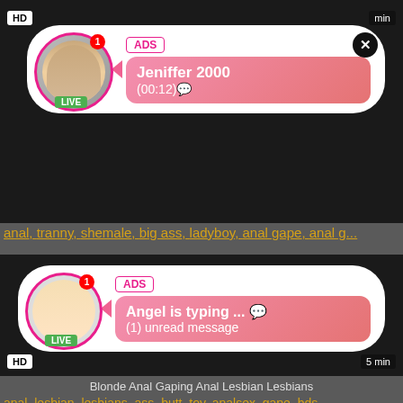[Figure (screenshot): Top dark video block with HD badge and ad popup showing Jeniffer 2000]
anal, tranny, shemale, big ass, ladyboy, anal gape, anal g...
[Figure (screenshot): Second dark video block with ad popup showing Angel is typing]
Blonde Anal Gaping Anal Lesbian Lesbians
anal, lesbian, lesbians, ass, butt, toy, analsex, gape, bds...